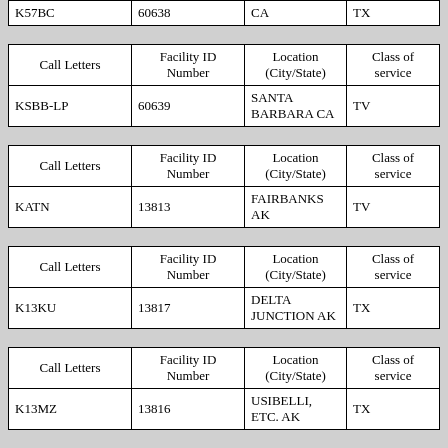| Call Letters | Facility ID Number | Location (City/State) | Class of service |
| --- | --- | --- | --- |
| K57BC | 60638 | CA | TX |
| Call Letters | Facility ID Number | Location (City/State) | Class of service |
| --- | --- | --- | --- |
| KSBB-LP | 60639 | SANTA BARBARA CA | TV |
| Call Letters | Facility ID Number | Location (City/State) | Class of service |
| --- | --- | --- | --- |
| KATN | 13813 | FAIRBANKS AK | TV |
| Call Letters | Facility ID Number | Location (City/State) | Class of service |
| --- | --- | --- | --- |
| K13KU | 13817 | DELTA JUNCTION AK | TX |
| Call Letters | Facility ID Number | Location (City/State) | Class of service |
| --- | --- | --- | --- |
| K13MZ | 13816 | USIBELLI, ETC. AK | TX |